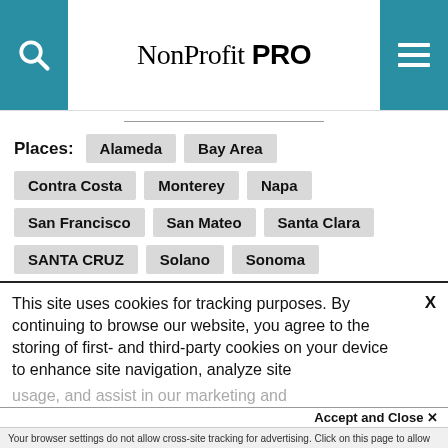NonProfit PRO
Places: Alameda  Bay Area  Contra Costa  Monterey  Napa  San Francisco  San Mateo  Santa Clara  SANTA CRUZ  Solano  Sonoma
This site uses cookies for tracking purposes. By continuing to browse our website, you agree to the storing of first- and third-party cookies on your device to enhance site navigation, analyze site usage, and assist in our marketing and
Accept and Close ✕
Your browser settings do not allow cross-site tracking for advertising. Click on this page to allow AdRoll to use cross-site tracking to tailor ads to you. Learn more or opt out of this AdRoll tracking by clicking here. This message only appears once.